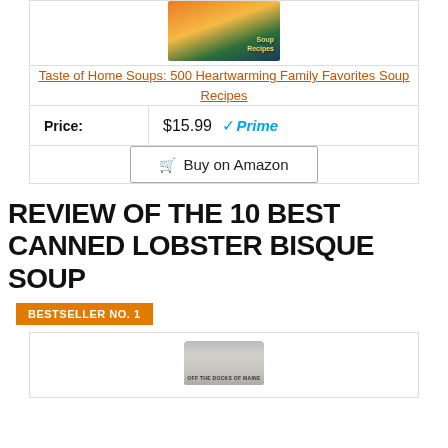[Figure (photo): Book cover for Taste of Home Soups cookbook with orange soup bowl and garnish]
Taste of Home Soups: 500 Heartwarming Family Favorites Soup Recipes
Price: $15.99 Prime
Buy on Amazon
REVIEW OF THE 10 BEST CANNED LOBSTER BISQUE SOUP
BESTSELLER NO. 1
[Figure (photo): Canned lobster bisque soup product]